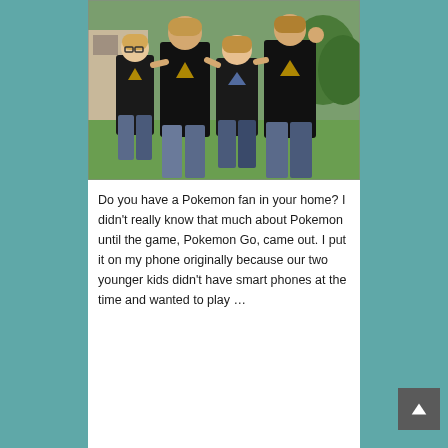[Figure (photo): Four people wearing black Pokemon Team Instinct t-shirts posing together outdoors on a lawn. Two adults and two children, all facing the camera.]
Do you have a Pokemon fan in your home? I didn't really know that much about Pokemon until the game, Pokemon Go, came out. I put it on my phone originally because our two younger kids didn't have smart phones at the time and wanted to play …